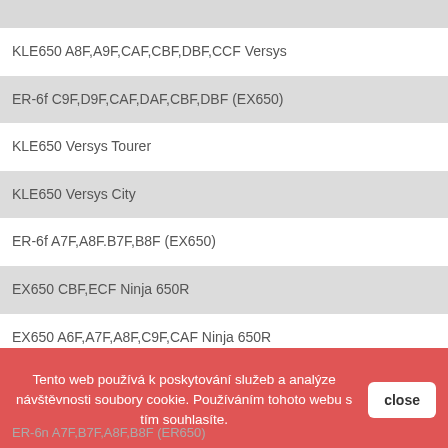KLE650 A8F,A9F,CAF,CBF,DBF,CCF Versys
ER-6f C9F,D9F,CAF,DAF,CBF,DBF (EX650)
KLE650 Versys Tourer
KLE650 Versys City
ER-6f A7F,A8F.B7F,B8F (EX650)
EX650 CBF,ECF Ninja 650R
EX650 A6F,A7F,A8F,C9F,CAF Ninja 650R
Tento web používá k poskytování služeb a analýze návštěvnosti soubory cookie. Používáním tohoto webu s tím souhlasíte.
ER-6n A7F,B7F,A8F,B8F (ER650)